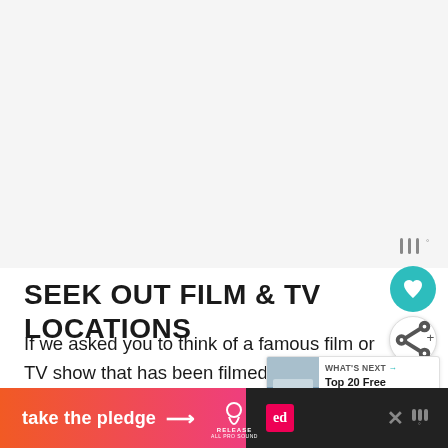[Figure (other): Large blank/white advertisement or image placeholder area at the top of the page]
SEEK OUT FILM & TV LOCATIONS
If we asked you to think of a famous film or TV show that has been filmed in [location], we don't think you would struggle, which is [why these locations are popular]
[Figure (other): WHAT'S NEXT widget with thumbnail image and text: Top 20 Free Things To D...]
[Figure (other): Bottom banner ad: take the pledge with arrow, Release logo, Ed logo, and close button]